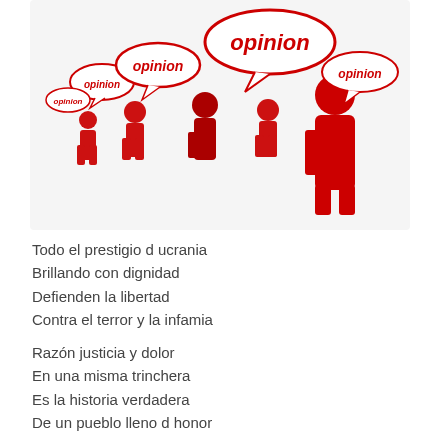[Figure (illustration): Illustration of several red stick-figure people with speech bubbles saying 'opinion' in red italic text on white oval/rounded-rectangle bubbles with red borders.]
Todo el prestigio d ucrania
Brillando con dignidad
Defienden la libertad
Contra el terror y la infamia

Razón justicia y dolor
En una misma trinchera
Es la historia verdadera
De un pueblo lleno d honor

La insistencia d un malvado
Por quererlo dominar
A tenido que escuchar